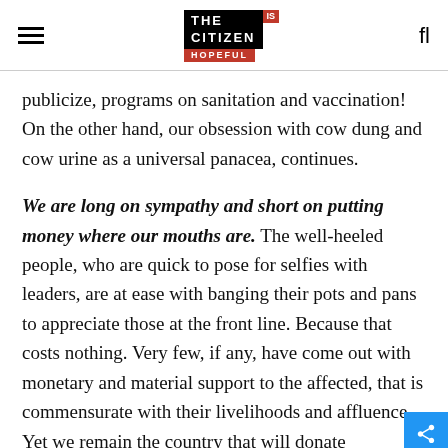THE CITIZEN IS HOPEFUL
publicize, programs on sanitation and vaccination! On the other hand, our obsession with cow dung and cow urine as a universal panacea, continues.
We are long on sympathy and short on putting money where our mouths are. The well-heeled people, who are quick to pose for selfies with leaders, are at ease with banging their pots and pans to appreciate those at the front line. Because that costs nothing. Very few, if any, have come out with monetary and material support to the affected, that is commensurate with their livelihoods and affluence. Yet we remain the country that will donate